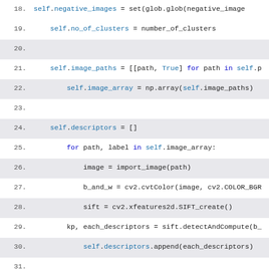[Figure (screenshot): Python source code listing lines 18–36, showing class method implementations with syntax highlighting. Lines alternate between shaded and white backgrounds. Code includes self.negative_images, self.no_of_clusters, self.image_paths, self.image_array, self.descriptors, a for loop, image processing calls (cv2), and method definitions return_labels and generate_features.]